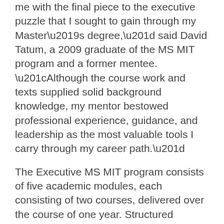me with the final piece to the executive puzzle that I sought to gain through my Master’s degree,” said David Tatum, a 2009 graduate of the MS MIT program and a former mentee. “Although the course work and texts supplied solid background knowledge, my mentor bestowed professional experience, guidance, and leadership as the most valuable tools I carry through my career path.”
The Executive MS MIT program consists of five academic modules, each consisting of two courses, delivered over the course of one year. Structured mentoring modules delivered to the mentoring groups are designed to complement the course curriculum and initiate productive conversations between the mentor and student mentees. Executive MS MIT students are currently working in the IT field